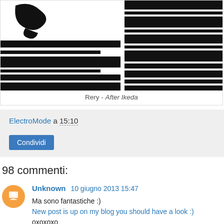[Figure (illustration): Abstract black and white striped artwork image, partial view, top of page]
Rery - After Ikeda
ElectroMode a 15:10
Condividi
98 commenti:
Unknown 10 giugno 2013 15:47
Ma sono fantastiche :)
New post is up on my blog you should have a look :)
oxoxoxo
Marie
Rispondi